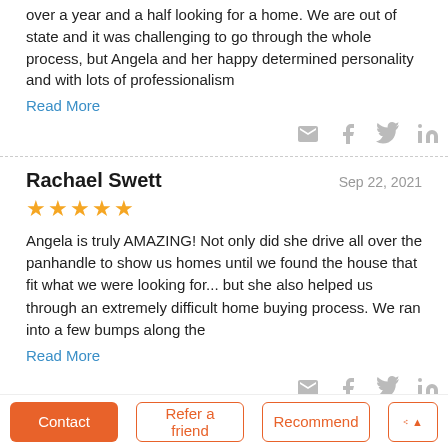over a year and a half looking for a home. We are out of state and it was challenging to go through the whole process, but Angela and her happy determined personality and with lots of professionalism
Read More
Rachael Swett
Sep 22, 2021
★★★★★
Angela is truly AMAZING! Not only did she drive all over the panhandle to show us homes until we found the house that fit what we were looking for... but she also helped us through an extremely difficult home buying process. We ran into a few bumps along the
Read More
Sara Raybon
Sep 9, 2021
★★★★★
Angela helped me through so much with the house buying process. Being a first time buyer I didn't know what to expect and she
Contact
Refer a friend
Recommend